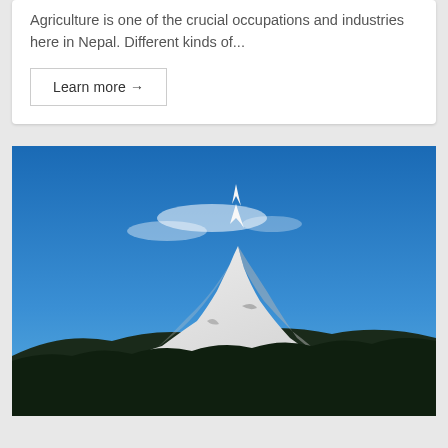Agriculture is one of the crucial occupations and industries here in Nepal. Different kinds of...
Learn more →
[Figure (photo): Snow-capped mountain peak (likely in Nepal/Himalayas) against a bright blue sky, with dark forested hills in the foreground. The mountain shows a sharp pointed summit with white snow and some wispy clouds around it.]